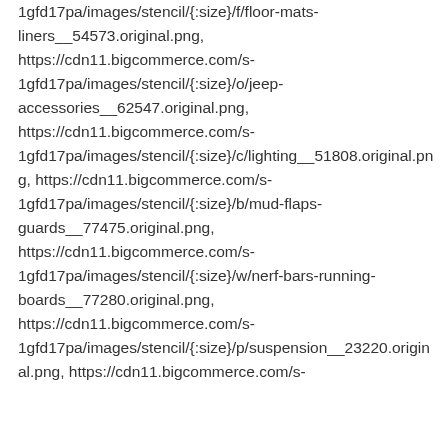1gfd17pa/images/stencil/{:size}/f/floor-mats-liners__54573.original.png, https://cdn11.bigcommerce.com/s-1gfd17pa/images/stencil/{:size}/o/jeep-accessories__62547.original.png, https://cdn11.bigcommerce.com/s-1gfd17pa/images/stencil/{:size}/c/lighting__51808.original.png, https://cdn11.bigcommerce.com/s-1gfd17pa/images/stencil/{:size}/b/mud-flaps-guards__77475.original.png, https://cdn11.bigcommerce.com/s-1gfd17pa/images/stencil/{:size}/w/nerf-bars-running-boards__77280.original.png, https://cdn11.bigcommerce.com/s-1gfd17pa/images/stencil/{:size}/p/suspension__23220.original.png, https://cdn11.bigcommerce.com/s-